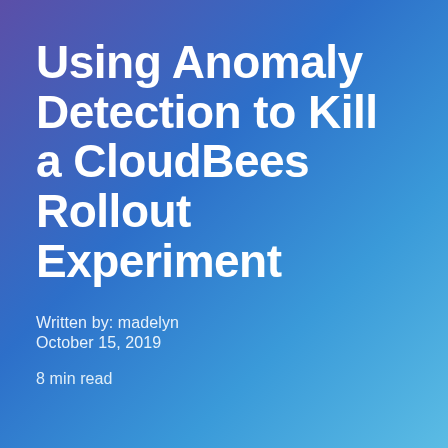Using Anomaly Detection to Kill a CloudBees Rollout Experiment
Written by: madelyn
October 15, 2019
8 min read